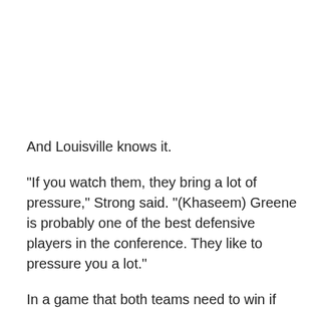And Louisville knows it.
"If you watch them, they bring a lot of pressure," Strong said. "(Khaseem) Greene is probably one of the best defensive players in the conference. They like to pressure you a lot."
In a game that both teams need to win if they want to keep their bowl hopes alive, hopes that would be record-making for both programs, the Scarlet Knights and the Cardinals are going to have to move past the